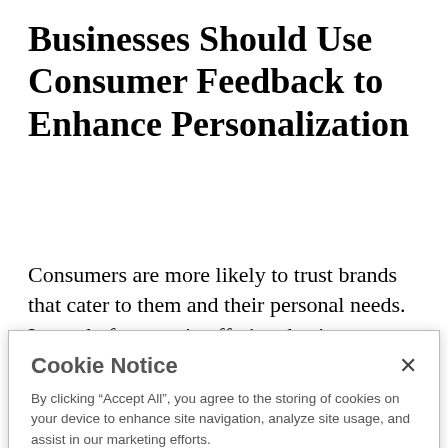Businesses Should Use Consumer Feedback to Enhance Personalization
Consumers are more likely to trust brands that cater to them and their personal needs. Instead of a generic offering, businesses can gain consumer trust and
Cookie Notice

By clicking “Accept All”, you agree to the storing of cookies on your device to enhance site navigation, analyze site usage, and assist in our marketing efforts.

[Review Settings] [Accept All]